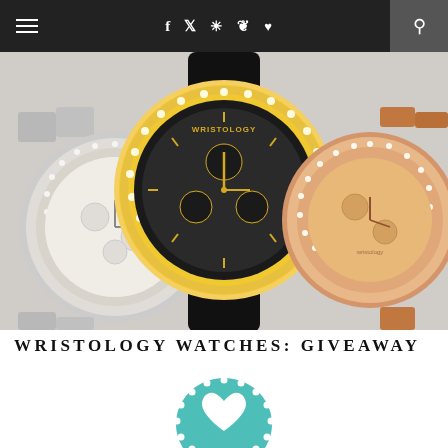Navigation bar with hamburger menu, social icons (f, twitter, instagram, pinterest, heart), and search icon
[Figure (photo): Three Wristology fashion watches displayed side by side: a silver watch with crystal bezel on the left, a large black watch with gold crystal bezel in the center, and a rose gold watch with crystal bezel on the right.]
WRISTOLOGY WATCHES: GIVEAWAY
[Figure (logo): Teal/turquoise circular giveaway badge with a heart icon and white dots around the border]